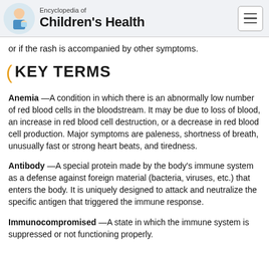Encyclopedia of Children's Health
or if the rash is accompanied by other symptoms.
KEY TERMS
Anemia —A condition in which there is an abnormally low number of red blood cells in the bloodstream. It may be due to loss of blood, an increase in red blood cell destruction, or a decrease in red blood cell production. Major symptoms are paleness, shortness of breath, unusually fast or strong heart beats, and tiredness.
Antibody —A special protein made by the body's immune system as a defense against foreign material (bacteria, viruses, etc.) that enters the body. It is uniquely designed to attack and neutralize the specific antigen that triggered the immune response.
Immunocompromised —A state in which the immune system is suppressed or not functioning properly.